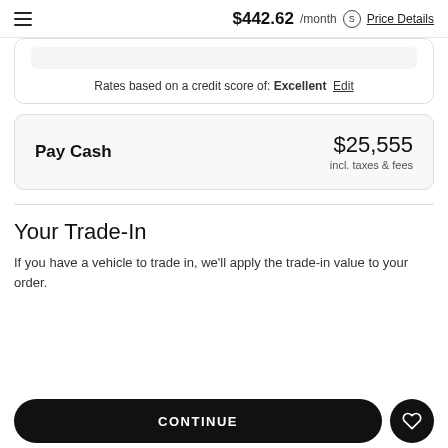$442.62 /month S Price Details
Rates based on a credit score of: Excellent  Edit
$25,555
incl. taxes & fees
Pay Cash
Your Trade-In
If you have a vehicle to trade in, we'll apply the trade-in value to your order.
CONTINUE